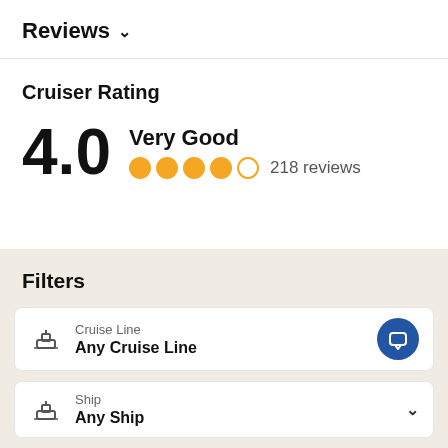Reviews ∨
Cruiser Rating
4.0 Very Good • 4 filled dots, 1 empty dot • 218 reviews
Filters
Cruise Line
Any Cruise Line
Ship
Any Ship